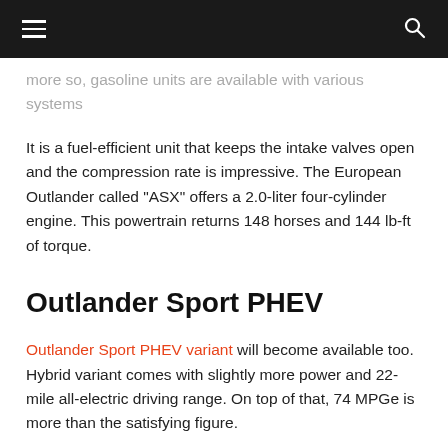[hamburger menu] [search icon]
…more so, gasoline units are available with various systems such as fuel-sipping combustion.
It is a fuel-efficient unit that keeps the intake valves open and the compression rate is impressive. The European Outlander called "ASX" offers a 2.0-liter four-cylinder engine. This powertrain returns 148 horses and 144 lb-ft of torque.
Outlander Sport PHEV
Outlander Sport PHEV variant will become available too. Hybrid variant comes with slightly more power and 22-mile all-electric driving range. On top of that, 74 MPGe is more than the satisfying figure.